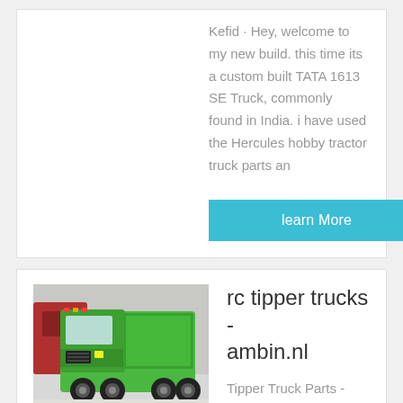Kefid · Hey, welcome to my new build. this time its a custom built TATA 1613 SE Truck, commonly found in India. i have used the Hercules hobby tractor truck parts an
learn More
[Figure (photo): Green RC tipper truck (LESU scale model) displayed indoors, with red trucks visible in the background]
rc tipper trucks - ambin.nl
Tipper Truck Parts - Truescale Trucks | RC Scale Model . Lesu 1:14 pair of universal metal side impact bars 2 sizes. Pair of universal metal side